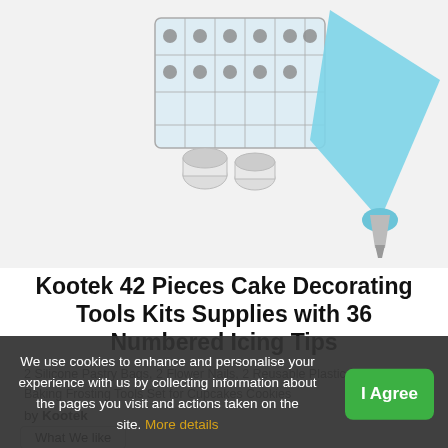[Figure (photo): Product photo of cake decorating tools kit including piping tips, silicone pastry bags, and organizer box on a white background]
Kootek 42 Pieces Cake Decorating Tools Kits Supplies with 36 Numbered Icing Tips
2 Silicone Pastry Bags, 2 Flower Nails, 2 Reusable Plastic Couplers Baking Frosting Tools Set for Cupcakes Cookies
by Kootek
What We like
Pre-filled, reusable, s... same story, reusable, no artificial, tasteless, food grade materials, easy to clean and dishwasher safe.
We use cookies to enhance and personalise your experience with us by collecting information about the pages you visit and actions taken on the site. More details